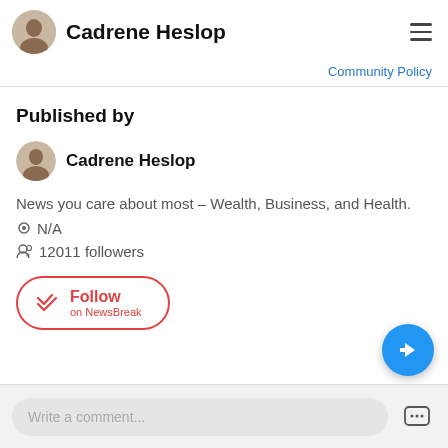Cadrene Heslop
Community Policy
Published by
Cadrene Heslop
News you care about most – Wealth, Business, and Health.
N/A
12011 followers
Follow on NewsBreak
Write a comment...